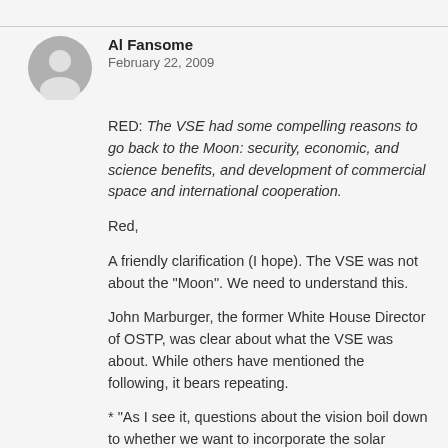[Figure (illustration): Gray circular user avatar icon]
Al Fansome
February 22, 2009
RED: The VSE had some compelling reasons to go back to the Moon: security, economic, and science benefits, and development of commercial space and international cooperation.
Red,
A friendly clarification (I hope). The VSE was not about the "Moon". We need to understand this.
John Marburger, the former White House Director of OSTP, was clear about what the VSE was about. While others have mentioned the following, it bears repeating.
* “As I see it, questions about the vision boil down to whether we want to incorporate the solar system in our economic sphere, or not.”
* “The fundamental goal of this vision is to advance U.S. scientific, security, and economic interests through a robust space exploration program.”
* “The wording of this policy phrase is significant. It